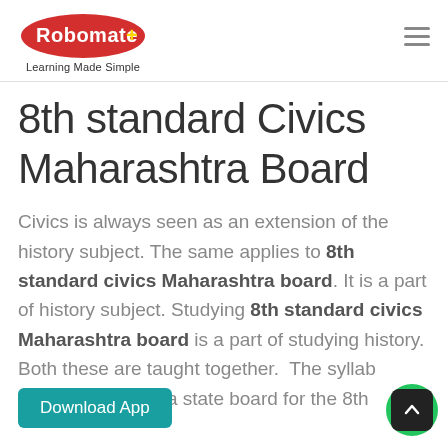Robomate+ Learning Made Simple
8th standard Civics Maharashtra Board
Civics is always seen as an extension of the history subject. The same applies to 8th standard civics Maharashtra board. It is a part of history subject. Studying 8th standard civics Maharashtra board is a part of studying history. Both these are taught together. The syllabus of the Maharashtra state board for the 8th